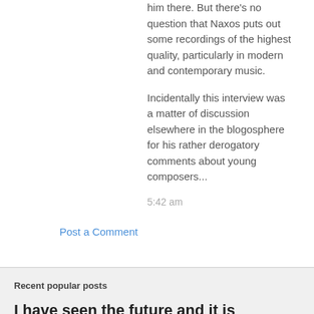him there. But there's no question that Naxos puts out some recordings of the highest quality, particularly in modern and contemporary music.
Incidentally this interview was a matter of discussion elsewhere in the blogosphere for his rather derogatory comments about young composers...
5:42 am
Post a Comment
Recent popular posts
I have seen the future and it is cardboard
October 14, 2009
[Figure (photo): Architectural photo of a building with blue sky]
This striking structure is the work of the